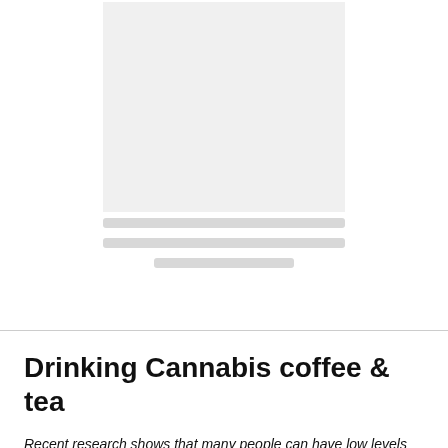[Figure (photo): Placeholder image box (light gray rectangle) with skeleton loading lines below it, suggesting a photo is loading]
Drinking Cannabis coffee & tea
Recent research shows that many people can have low levels